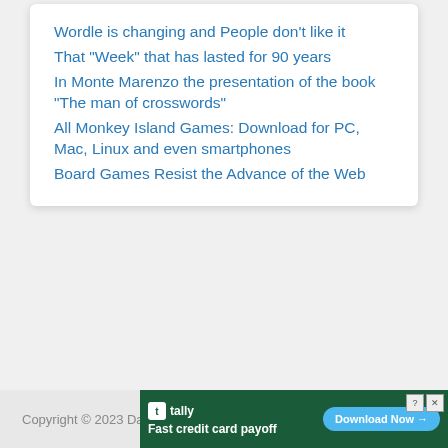Wordle is changing and People don’t like it
That “Week” that has lasted for 90 years
In Monte Marenzo the presentation of the book “The man of crosswords”
All Monkey Island Games: Download for PC, Mac, Linux and even smartphones
Board Games Resist the Advance of the Web
Copyright © 2023 Daily Times and Crossword Answers